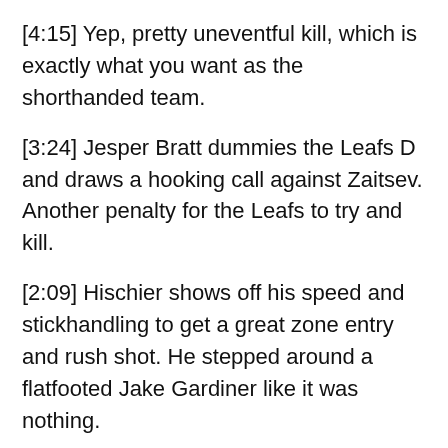[4:15] Yep, pretty uneventful kill, which is exactly what you want as the shorthanded team.
[3:24] Jesper Bratt dummies the Leafs D and draws a hooking call against Zaitsev. Another penalty for the Leafs to try and kill.
[2:09] Hischier shows off his speed and stickhandling to get a great zone entry and rush shot. He stepped around a flatfooted Jake Gardiner like it was nothing.
[1:26] Penalty killed again. And just as it ends, the Devils take a penalty, as Blake Coleman trips Gardiner. Leafs with a chance to take the lead before the period ends.
[0:00] They can't do it. Toronto gets an abbreviated